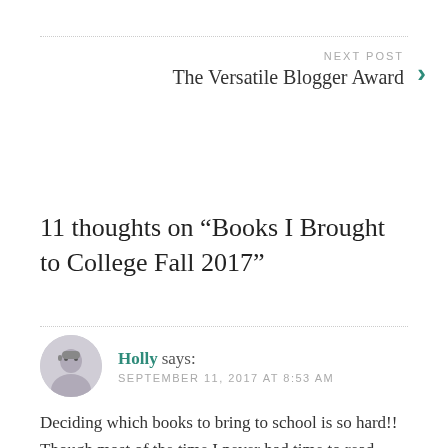NEXT POST — The Versatile Blogger Award
11 thoughts on “Books I Brought to College Fall 2017”
Holly says: SEPTEMBER 11, 2017 AT 8:53 AM
Deciding which books to bring to school is so hard!! Though most of the time I never had time to read them anyways haha 🙂 Great